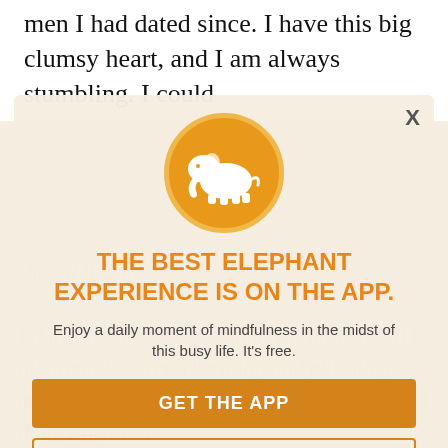men I had dated since. I have this big clumsy heart, and I am always stumbling. I could
worry that my children do not have a male under their roof, or that they do not have a traditional family structure, a the dinner table, but I don't. I won... shared it with... I think love p... said. Certain now. It is all around us, reverberating and pulsating, moving waves of supercharged particles. I think when you... find love...
[Figure (logo): Orange circle with white elephant silhouette — Elephant Journal app icon]
THE BEST ELEPHANT EXPERIENCE IS ON THE APP.
Enjoy a daily moment of mindfulness in the midst of this busy life. It's free.
GET THE APP
OPEN IN APP